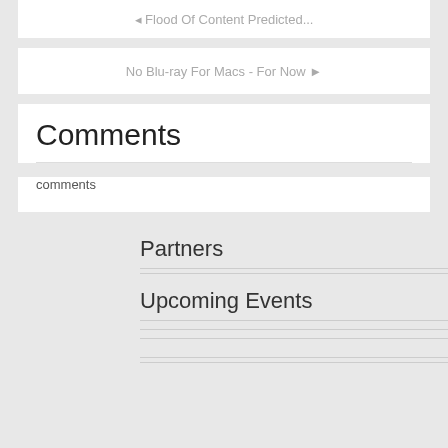◄ Flood Of Content Predicted...
No Blu-ray For Macs - For Now ►
Comments
comments
Partners
Upcoming Events